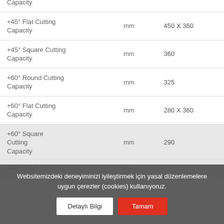| Parameter | Unit | Value |
| --- | --- | --- |
| +45° Flat Cutting Capacity | mm | 450 X 360 |
| +45° Square Cutting Capacity | mm | 360 |
| +60° Round Cutting Capacity | mm | 325 |
| +60° Flat Cutting Capacity | mm | 280 X 360 |
| +60° Square Cutting Capacity | mm | 290 |
| Main Drive | kW |  |
Websitemizdeki deneyiminizi iyileştirmek için yasal düzenlemelere uygun çerezler (cookies) kullanıyoruz.
Detaylı Bilgi | Tamam